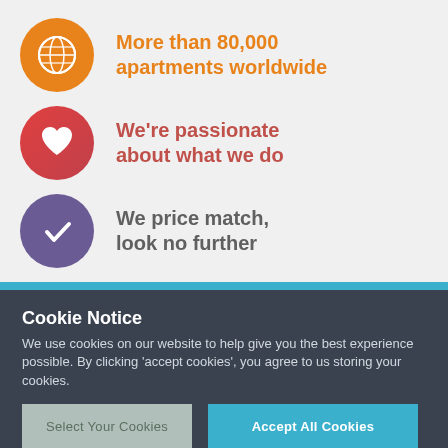More than 80,000 apartments worldwide
We're passionate about what we do
We price match, look no further
Cookie Notice
We use cookies on our website to help give you the best experience possible. By clicking 'accept cookies', you agree to us storing your cookies.
Select Your Cookies
Accept All Cookies